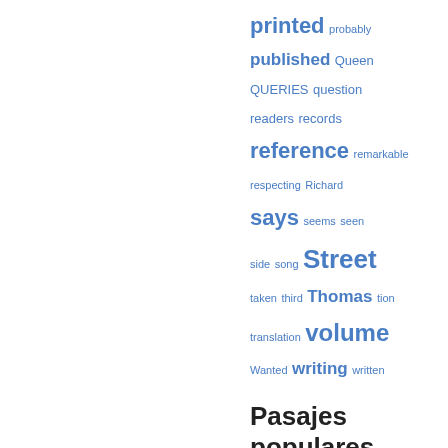[Figure (other): Tag cloud with words of varying sizes in blue: printed, probably, published, Queen, QUERIES, question, readers, records, reference, remarkable, respecting, Richard, says, seems, seen, side, song, Street, taken, third, Thomas, tion, translation, volume, Wanted, writing, written]
Pasajes populares
Página 11 - Remember thee! Yea, from the table of my memory I'll wipe